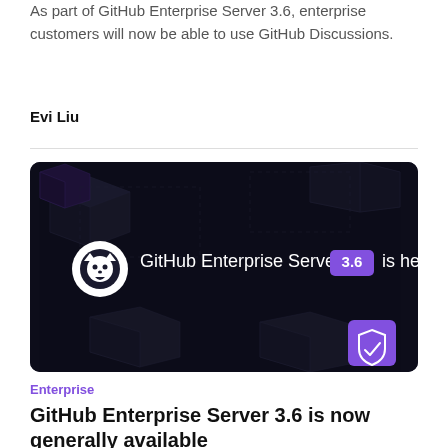As part of GitHub Enterprise Server 3.6, enterprise customers will now be able to use GitHub Discussions.
Evi Liu
[Figure (illustration): Dark-themed banner image showing GitHub Enterprise Server 3.6 is here! with GitHub cat logo on left, a purple badge showing '3.6', and a purple shield icon on the lower right, with geometric 3D cube shapes in the background.]
Enterprise
GitHub Enterprise Server 3.6 is now generally available